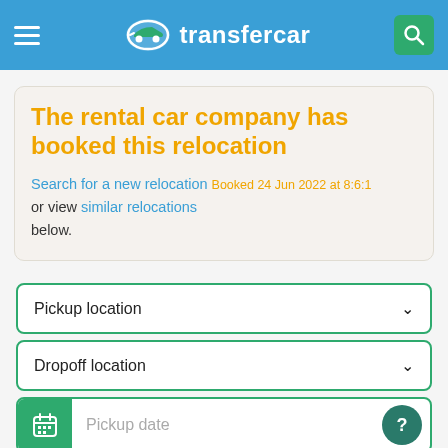transfercar
The rental car company has booked this relocation
Search for a new relocation Booked 24 Jun 2022 at 8:6:1 or view similar relocations below.
Pickup location
Dropoff location
Pickup date
Find a car!